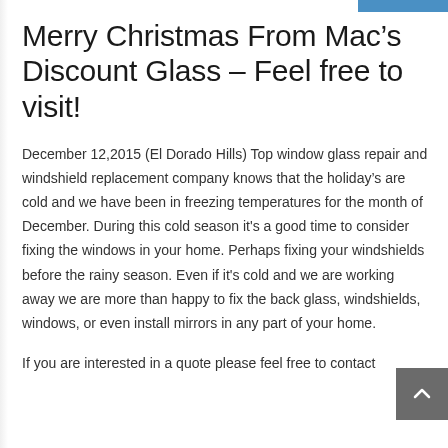Merry Christmas From Mac’s Discount Glass – Feel free to visit!
December 12,2015 (El Dorado Hills) Top window glass repair and windshield replacement company knows that the holiday’s are cold and we have been in freezing temperatures for the month of December. During this cold season it’s a good time to consider fixing the windows in your home. Perhaps fixing your windshields before the rainy season. Even if it’s cold and we are working away we are more than happy to fix the back glass, windshields, windows, or even install mirrors in any part of your home.
If you are interested in a quote please feel free to contact